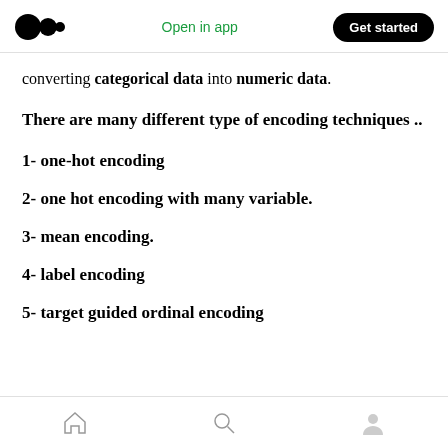Open in app | Get started
converting categorical data into numeric data.
There are many different type of encoding techniques ..
1- one-hot encoding
2- one hot encoding with many variable.
3- mean encoding.
4- label encoding
5- target guided ordinal encoding
Home | Search | Profile